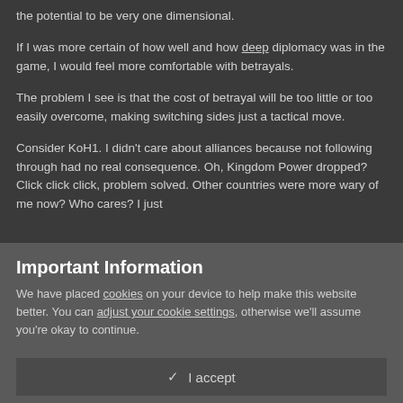the potential to be very one dimensional.
If I was more certain of how well and how deep diplomacy was in the game, I would feel more comfortable with betrayals.
The problem I see is that the cost of betrayal will be too little or too easily overcome, making switching sides just a tactical move.
Consider KoH1.  I didn't care about alliances because not following through had no real consequence.  Oh, Kingdom Power dropped?  Click click click, problem solved.  Other countries were more wary of me now?  Who cares?  I just
Important Information
We have placed cookies on your device to help make this website better. You can adjust your cookie settings, otherwise we'll assume you're okay to continue.
✓  I accept